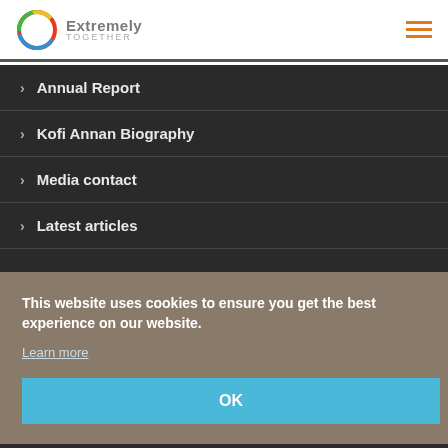Extremely Together — navigation header with logo and hamburger menu
Annual Report
Kofi Annan Biography
Media contact
Latest articles
This website uses cookies to ensure you get the best experience on our website. Learn more
OK
P.O.B. 157 | 1211 Geneva 20